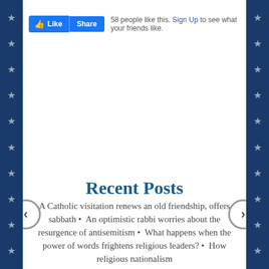[Figure (screenshot): Facebook Like and Share buttons with text '58 people like this. Sign Up to see what your friends like.']
Recent Posts
A Catholic visitation renews an old friendship, offers sabbath • An optimistic rabbi worries about the resurgence of antisemitism • What happens when the power of words frightens religious leaders? • How religious nationalism